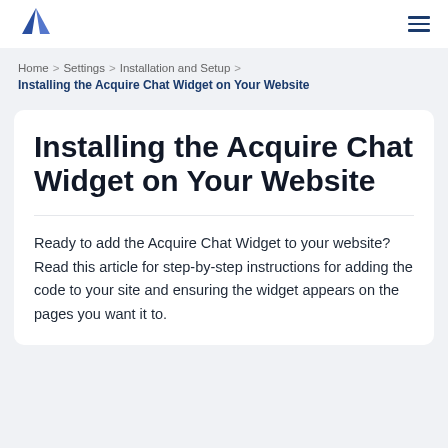[Figure (logo): Acquire logo — dark blue triangle/mountain shape]
Home > Settings > Installation and Setup > Installing the Acquire Chat Widget on Your Website
Installing the Acquire Chat Widget on Your Website
Ready to add the Acquire Chat Widget to your website? Read this article for step-by-step instructions for adding the code to your site and ensuring the widget appears on the pages you want it to.